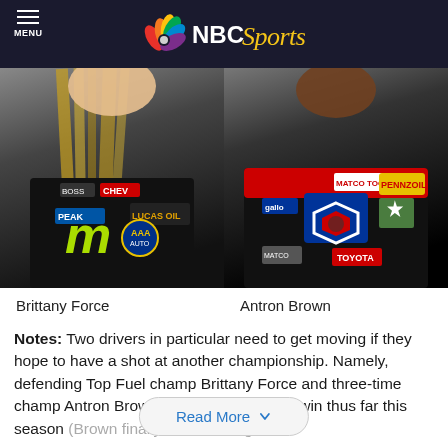MENU | NBC Sports
[Figure (photo): Two racing drivers (Brittany Force on left, Antron Brown on right) in racing suits with sponsor logos]
Brittany Force    Antron Brown
Notes: Two drivers in particular need to get moving if they hope to have a shot at another championship. Namely, defending Top Fuel champ Brittany Force and three-time champ Antron Brown. Both have just one win thus far this season (Brown finally broke through last